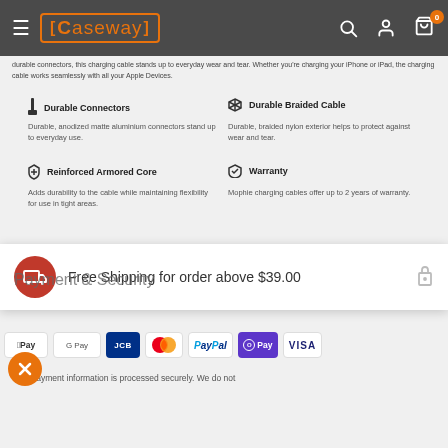Caseway — Navigation header with logo, search, account, and cart icons
durable connectors, this charging cable stands up to everyday wear and tear. Whether you're charging your iPhone or iPad, the charging cable works seamlessly with all your Apple Devices.
Durable Connectors
Durable, anodized matte aluminium connectors stand up to everyday use.
Durable Braided Cable
Durable, braided nylon exterior helps to protect against wear and tear.
Reinforced Armored Core
Adds durability to the cable while maintaining flexibility for use in tight areas.
Warranty
Mophie charging cables offer up to 2 years of warranty.
Free Shipping for order above $39.00
Payment & Security
[Figure (logo): Payment method logos: Apple Pay, Google Pay, JCB, Mastercard, PayPal, OPay, Visa]
Your payment information is processed securely. We do not